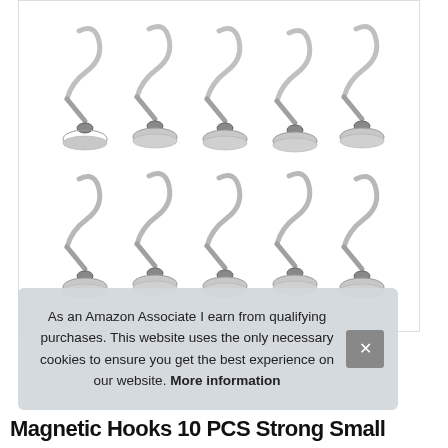[Figure (photo): Product photo showing 10 chrome/silver magnetic hooks with S-shaped hooks on round magnet bases, arranged in two rows of five on a white background.]
As an Amazon Associate I earn from qualifying purchases. This website uses the only necessary cookies to ensure you get the best experience on our website. More information
Magnetic Hooks 10 PCS Strong Small